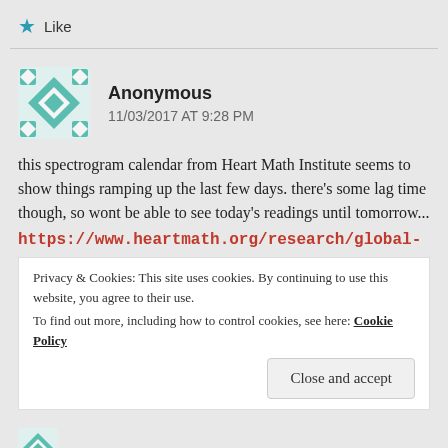★ Like
Anonymous
11/03/2017 AT 9:28 PM
this spectrogram calendar from Heart Math Institute seems to show things ramping up the last few days. there's some lag time though, so wont be able to see today's readings until tomorrow...
https://www.heartmath.org/research/global-
Privacy & Cookies: This site uses cookies. By continuing to use this website, you agree to their use.
To find out more, including how to control cookies, see here: Cookie Policy
Close and accept